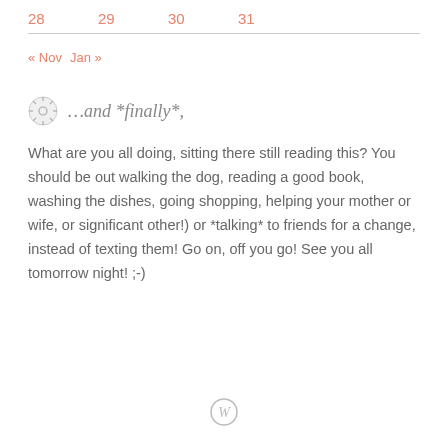28  29  30  31
« Nov  Jan »
…and *finally*,
What are you all doing, sitting there still reading this? You should be out walking the dog, reading a good book, washing the dishes, going shopping, helping your mother or wife, or significant other!) or *talking* to friends for a change, instead of texting them! Go on, off you go! See you all tomorrow night! ;-)
WordPress logo